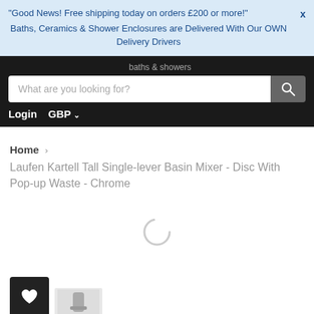"Good News! Free shipping today on orders £200 or more!"  X
Baths, Ceramics & Shower Enclosures are Delivered With Our OWN Delivery Drivers
[Figure (screenshot): E-commerce website screenshot showing search bar with placeholder 'What are you looking for?' and a search button, on a dark navbar with Login and GBP currency selector]
Home > Laufen Kartell Tall Single-lever Basin Mixer - Disc With Pop-up Waste - Chrome
[Figure (other): Loading spinner (circular gray spinner)]
[Figure (other): Wishlist heart icon button (dark square) and partial product image at bottom of page]